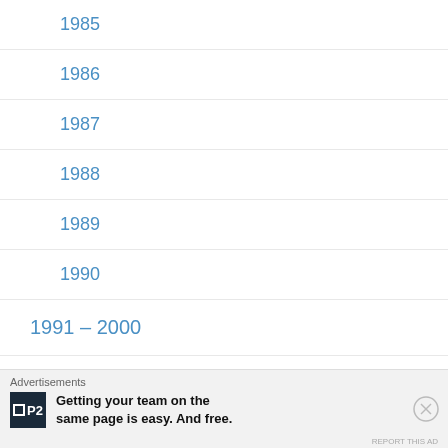1985
1986
1987
1988
1989
1990
1991 – 2000
1991
Advertisements
Getting your team on the same page is easy. And free.